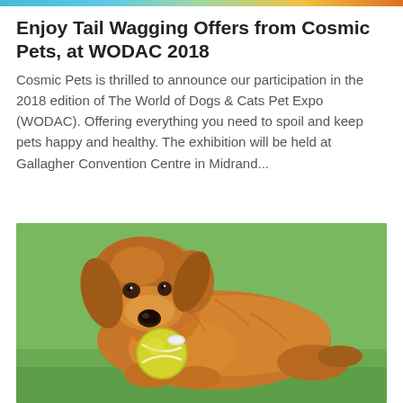Enjoy Tail Wagging Offers from Cosmic Pets, at WODAC 2018
Cosmic Pets is thrilled to announce our participation in the 2018 edition of The World of Dogs & Cats Pet Expo (WODAC). Offering everything you need to spoil and keep pets happy and healthy. The exhibition will be held at Gallagher Convention Centre in Midrand...
[Figure (photo): A golden retriever dog lying on green grass, holding a yellow tennis ball in its mouth, looking at the camera.]